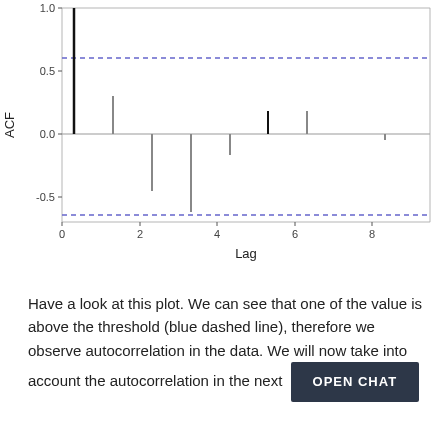[Figure (continuous-plot): ACF (autocorrelation function) plot. Y-axis labeled 'ACF' ranging from about -0.7 to 1.0. X-axis labeled 'Lag' with values 0, 2, 4, 6, 8. Blue dashed horizontal lines at approximately +0.6 and -0.65 (confidence thresholds). Vertical spikes: lag 0 reaches ~1.0 (black), lag 1 reaches ~0.3, lag 2 drops to ~-0.45, lag 3 drops to ~-0.65, lag 4 drops to ~-0.2, lag 5 rises to ~0.2 (black spike), lag 6 rises to ~0.2, lag 8 drops slightly below 0.]
Have a look at this plot. We can see that one of the value is above the threshold (blue dashed line), therefore we observe autocorrelation in the data. We will now take into account the autocorrelation in the next